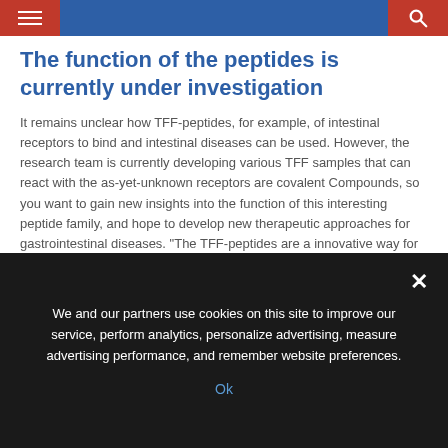Navigation bar with hamburger menu and search icon
The function of the peptides is currently under investigation
It remains unclear how TFF-peptides, for example, of intestinal receptors to bind and intestinal diseases can be used. However, the research team is currently developing various TFF samples that can react with the as-yet-unknown receptors are covalent Compounds, so you want to gain new insights into the function of this interesting peptide family, and hope to develop new therapeutic approaches for gastrointestinal diseases. "The TFF-peptides are a innovative way for a novel drug design," stresses Muttenthaler.
We and our partners use cookies on this site to improve our service, perform analytics, personalize advertising, measure advertising performance, and remember website preferences.
Ok